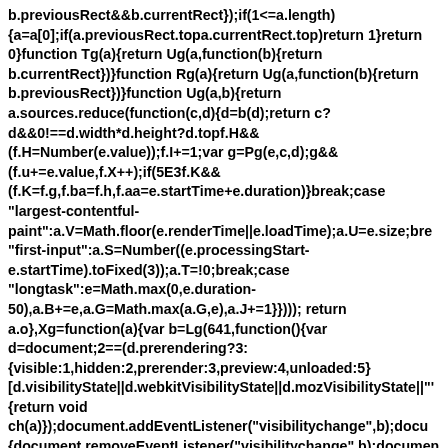b.previousRect&&b.currentRect});if(1<=a.length){a=a[0];if(a.previousRect.topa.currentRect.top)return 1}return 0}function Tg(a){return Ug(a,function(b){return b.currentRect})}function Rg(a){return Ug(a,function(b){return b.previousRect})}function Ug(a,b){return a.sources.reduce(function(c,d){d=b(d);return c?d&&0!==d.width*d.height?d.topf.H&&(f.H=Number(e.value));f.I+=1;var g=Pg(e,c,d);g&&(f.u+=e.value,f.X++);if(5E3f.K&&(f.K=f.g,f.ba=f.h,f.aa=e.startTime+e.duration)}break;case "largest-contentful-paint":a.V=Math.floor(e.renderTime||e.loadTime);a.U=e.size;bre "first-input":a.S=Number((e.processingStart-e.startTime).toFixed(3));a.T=!0;break;case "longtask":e=Math.max(0,e.duration-50),a.B+=e,a.G=Math.max(a.G,e),a.J+=1}}))); return a.o},Xg=function(a){var b=Lg(641,function(){var d=document;2==(d.prerendering?3:{visible:1,hidden:2,prerender:3,preview:4,unloaded:5}[d.visibilityState||d.webkitVisibilityState||d.mozVisibilityState||"'{return void ch(a)});document.addEventListener("visibilitychange",b);docu{document.removeEventListener("visibilitychange",b);documen{Ed.prototype.P.call(this);this.R()};var ch=function(a){if(!a.Y{a.Y=!0;Wg(a).takeRecords();var